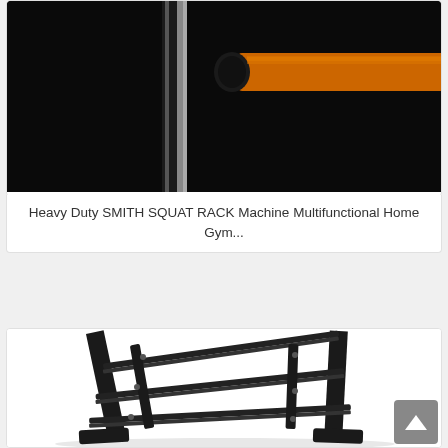[Figure (photo): Close-up photo of a Heavy Duty Smith Squat Rack machine showing a black and orange barbell attachment/handle component against a dark background]
Heavy Duty SMITH SQUAT RACK Machine Multifunctional Home Gym...
[Figure (photo): Photo of a 3-tier black metal dumbbell rack/storage stand against a white background]